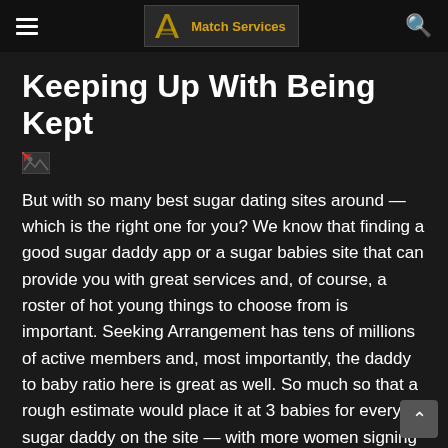Match Services
Keeping Up With Being Kept
[Figure (other): Broken/missing image placeholder]
But with so many best sugar dating sites around — which is the right one for you? We know that finding a good sugar daddy app or a sugar babies site that can provide you with great services and, of course, a roster of hot young things to choose from is important. Seeking Arrangement has tens of millions of active members and, most importantly, the daddy to baby ratio here is great as well. So much so that a rough estimate would place it at 3 babies for every sugar daddy on the site — with more women signing up every day.